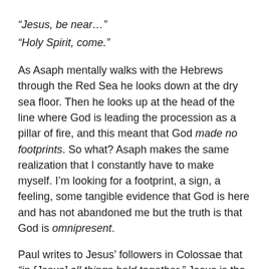“Jesus, be near…”
“Holy Spirit, come.”
As Asaph mentally walks with the Hebrews through the Red Sea he looks down at the dry sea floor. Then he looks up at the head of the line where God is leading the procession as a pillar of fire, and this meant that God made no footprints. So what? Asaph makes the same realization that I constantly have to make myself. I’m looking for a footprint, a sign, a feeling, some tangible evidence that God is here and has not abandoned me but the truth is that God is omnipresent.
Paul writes to Jesus’ followers in Colossae that “in [Jesus] all things hold together.” Jesus is the dark matter, the gluon, the thing that holds all matter in the universe together. He is knit into the very fiber of my being, the chair I’m sitting on, the desk I’m writing this on, and the keyboard I’m tapping. The problem